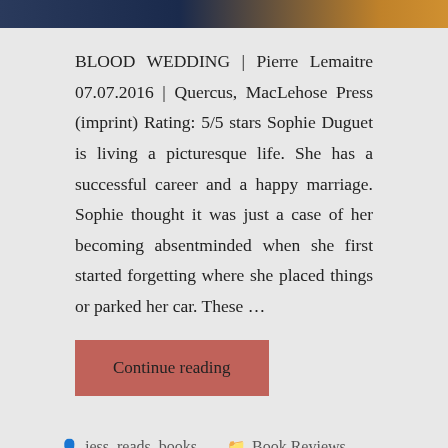[Figure (photo): Top strip of a book cover image showing dark blue and orange/gold tones]
BLOOD WEDDING | Pierre Lemaitre 07.07.2016 | Quercus, MacLehose Press (imprint) Rating: 5/5 stars Sophie Duguet is living a picturesque life. She has a successful career and a happy marriage. Sophie thought it was just a case of her becoming absentminded when she first started forgetting where she placed things or parked her car. These …
Continue reading
jess_reads_books
Book Reviews
4 Comments
February 22, 2018